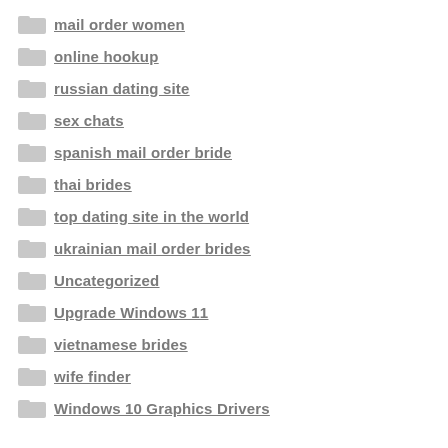mail order women
online hookup
russian dating site
sex chats
spanish mail order bride
thai brides
top dating site in the world
ukrainian mail order brides
Uncategorized
Upgrade Windows 11
vietnamese brides
wife finder
Windows 10 Graphics Drivers